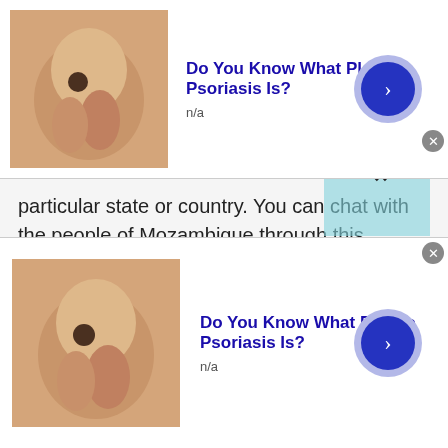[Figure (screenshot): Top advertisement banner: skin/hand photo thumbnail, title 'Do You Know What Plaque Psoriasis Is?', subtitle 'n/a', blue arrow button, close X button]
particular state or country. You can chat with the people of Mozambique through this application. Now keep that in mind, that Mozambique is one of the most culturally rich countries in the world.
If you chat with the people of Mozambique, then you should stay open to accept the diversity and cultural values of the people. The reason being, alongside being culturally rich, Mozambique is also one of the most diverse countries in the world. People ten to like individuals who like to have diversity among
[Figure (screenshot): Bottom advertisement banner: skin/hand photo thumbnail, title 'Do You Know What Plaque Psoriasis Is?', subtitle 'n/a', blue arrow button, close X button]